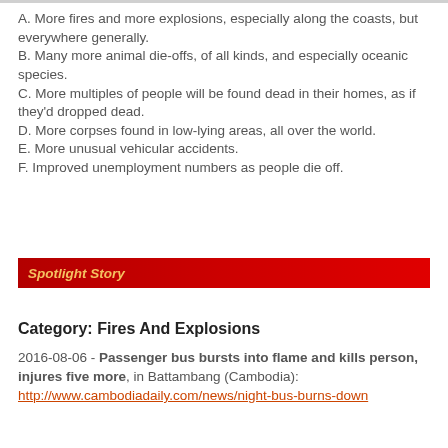A. More fires and more explosions, especially along the coasts, but everywhere generally.
B. Many more animal die-offs, of all kinds, and especially oceanic species.
C. More multiples of people will be found dead in their homes, as if they'd dropped dead.
D. More corpses found in low-lying areas, all over the world.
E. More unusual vehicular accidents.
F. Improved unemployment numbers as people die off.
Spotlight Story
Category: Fires And Explosions
2016-08-06 - Passenger bus bursts into flame and kills person, injures five more, in Battambang (Cambodia): http://www.cambodiadaily.com/news/night-bus-burns-down